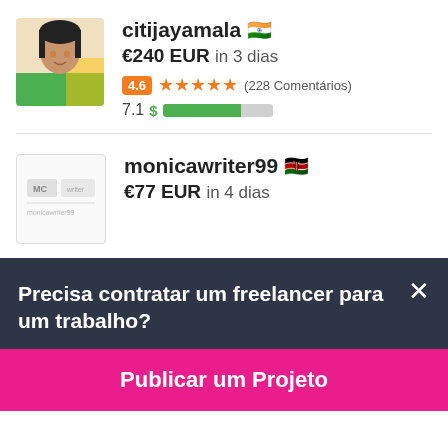citijayamala 🇮🇳
€240 EUR in 3 dias
4.6 ★★★★★ (228 Comentários)
7.1 $ [progress bar]
monicawriter99 🇰🇪
€77 EUR in 4 dias
Precisa contratar um freelancer para um trabalho?
Publicar um Projeto